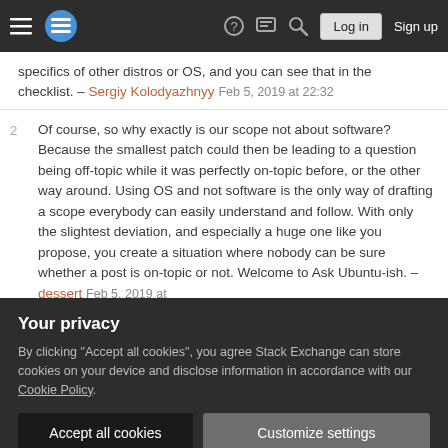Stack Exchange navigation bar with hamburger menu, logo, help, chat, search, Log in, Sign up
specifics of other distros or OS, and you can see that in the checklist. – Sergiy Kolodyazhnyy Feb 5, 2019 at 22:32
2  Of course, so why exactly is our scope not about software? Because the smallest patch could then be leading to a question being off-topic while it was perfectly on-topic before, or the other way around. Using OS and not software is the only way of drafting a scope everybody can easily understand and follow. With only the slightest deviation, and especially a huge one like you propose, you create a situation where nobody can be sure whether a post is on-topic or not. Welcome to Ask Ubuntu-ish. – dessert Feb 5, 2019 at
Your privacy
By clicking "Accept all cookies", you agree Stack Exchange can store cookies on your device and disclose information in accordance with our Cookie Policy.
Accept all cookies   Customize settings
a typo by OP and answer has a direct quote that